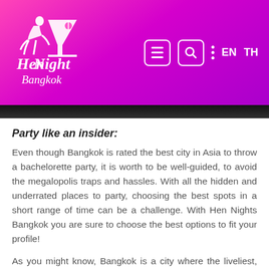Hen Night Bangkok — navigation header with logo, menu, search, language EN/TH
Party like an insider:
Even though Bangkok is rated the best city in Asia to throw a bachelorette party, it is worth to be well-guided, to avoid the megalopolis traps and hassles. With all the hidden and underrated places to party, choosing the best spots in a short range of time can be a challenge. With Hen Nights Bangkok you are sure to choose the best options to fit your profile!
As you might know, Bangkok is a city where the liveliest, fashionable spots change every 2 months. That is why we continuously change, update and customize our offers to make sure you will have the RIGHT PARTY, at the RIGHT PLACE, at the RIGHT TIME.